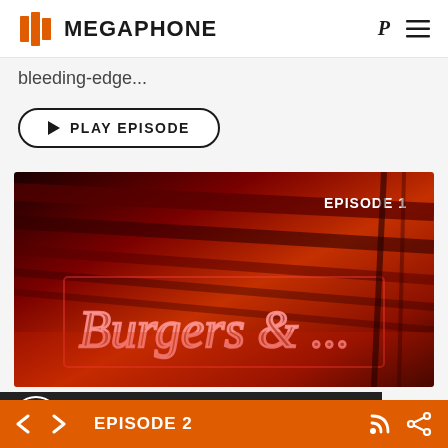MEGAPHONE
bleeding-edge...
PLAY EPISODE
[Figure (photo): Neon sign showing 'Burgers & ...' in red neon lighting on ceiling of a restaurant, dark atmospheric photo with red cast. Label 'EPISODE 1' in top right corner.]
Technology
Innovation Talks: Voices of IBM Security
by Caleb Barlow
EPISODE 2